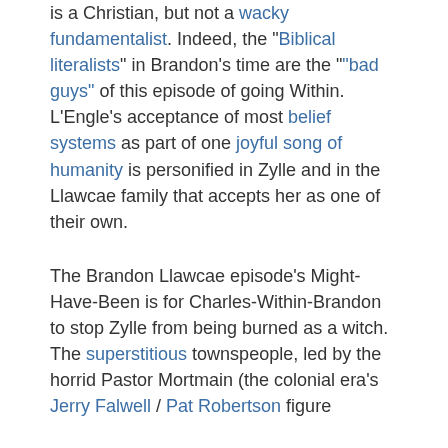is a Christian, but not a wacky fundamentalist. Indeed, the "Biblical literalists" in Brandon's time are the "bad guys" of this episode of going Within. L'Engle's acceptance of most belief systems as part of one joyful song of humanity is personified in Zylle and in the Llawcae family that accepts her as one of their own.
The Brandon Llawcae episode's Might-Have-Been is for Charles-Within-Brandon to stop Zylle from being burned as a witch. The superstitious townspeople, led by the horrid Pastor Mortmain (the colonial era's Jerry Falwell / Pat Robertson figure...